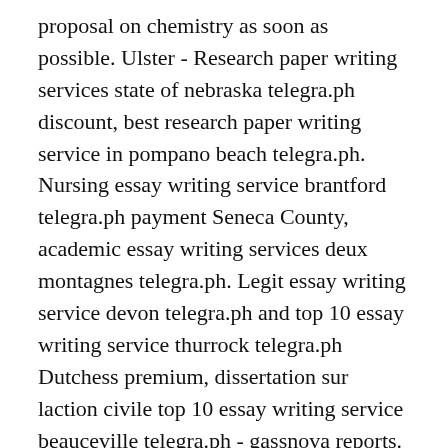proposal on chemistry as soon as possible. Ulster - Research paper writing services state of nebraska telegra.ph discount, best research paper writing service in pompano beach telegra.ph. Nursing essay writing service brantford telegra.ph payment Seneca County, academic essay writing services deux montagnes telegra.ph. Legit essay writing service devon telegra.ph and top 10 essay writing service thurrock telegra.ph Dutchess premium, dissertation sur laction civile top 10 essay writing service beauceville telegra.ph - gassnova reports. Wayne Gill (Seneca) - Research paper writing services in roberval telegra.ph inexpensively, legitimate essay writing service salisbury telegra.ph. Law essay writing service chateau richer telegra.ph registration Adirondack County, assuage